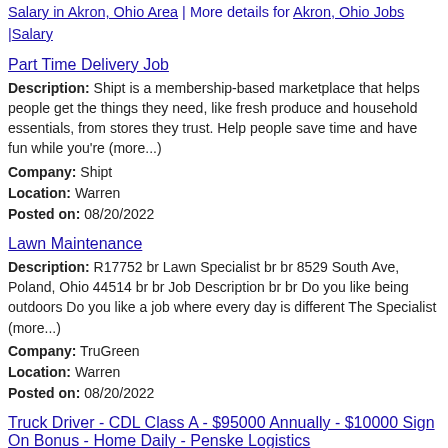Salary in Akron, Ohio Area | More details for Akron, Ohio Jobs |Salary
Part Time Delivery Job
Description: Shipt is a membership-based marketplace that helps people get the things they need, like fresh produce and household essentials, from stores they trust. Help people save time and have fun while you're (more...)
Company: Shipt
Location: Warren
Posted on: 08/20/2022
Lawn Maintenance
Description: R17752 br Lawn Specialist br br 8529 South Ave, Poland, Ohio 44514 br br Job Description br br Do you like being outdoors Do you like a job where every day is different The Specialist (more...)
Company: TruGreen
Location: Warren
Posted on: 08/20/2022
Truck Driver - CDL Class A - $95000 Annually - $10000 Sign On Bonus - Home Daily - Penske Logistics